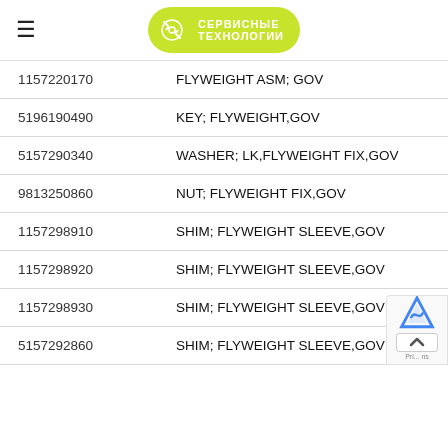Сервисные Технологии
| Part Number | Description |
| --- | --- |
| 1157220170 | FLYWEIGHT ASM; GOV |
| 5196190490 | KEY; FLYWEIGHT,GOV |
| 5157290340 | WASHER; LK,FLYWEIGHT FIX,GOV |
| 9813250860 | NUT; FLYWEIGHT FIX,GOV |
| 1157298910 | SHIM; FLYWEIGHT SLEEVE,GOV |
| 1157298920 | SHIM; FLYWEIGHT SLEEVE,GOV |
| 1157298930 | SHIM; FLYWEIGHT SLEEVE,GOV |
| 5157292860 | SHIM; FLYWEIGHT SLEEVE,GOV |